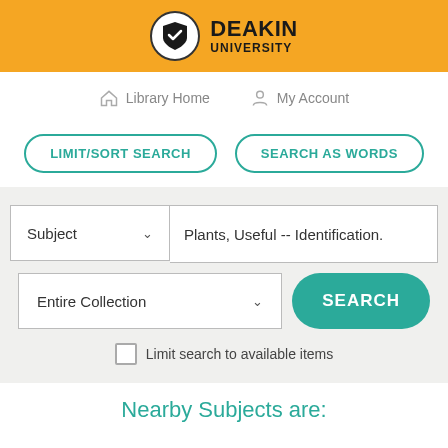[Figure (logo): Deakin University logo with shield icon on orange header bar]
Library Home   My Account
LIMIT/SORT SEARCH   SEARCH AS WORDS
Subject   Plants, Useful -- Identification.   Entire Collection   SEARCH   Limit search to available items
Nearby Subjects are: